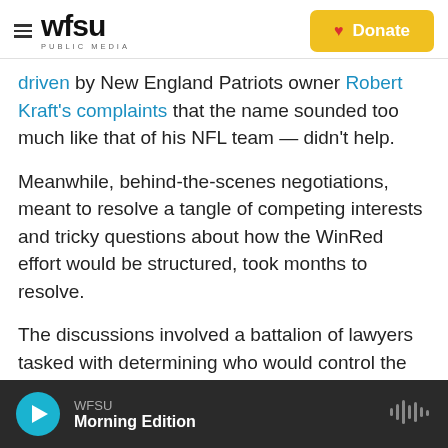WFSU PUBLIC MEDIA | Donate
driven by New England Patriots owner Robert Kraft's complaints that the name sounded too much like that of his NFL team — didn't help.

Meanwhile, behind-the-scenes negotiations, meant to resolve a tangle of competing interests and tricky questions about how the WinRed effort would be structured, took months to resolve.

The discussions involved a battalion of lawyers tasked with determining who would control the new effort and how WinRed would secure campaigns' data.
WFSU Morning Edition